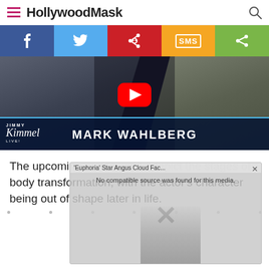HollywoodMask
[Figure (screenshot): Social share buttons: Facebook, Twitter, Pinterest, SMS, Share]
[Figure (screenshot): YouTube video thumbnail showing Jimmy Kimmel Live with Mark Wahlberg]
The upcoming movie would depict the stages of body transformation, with the actor's character being out of shape later in life.
[Figure (screenshot): Ad overlay: 'Euphoria' Star Angus Cloud Fac... No compatible source was found for this media. Close button X visible.]